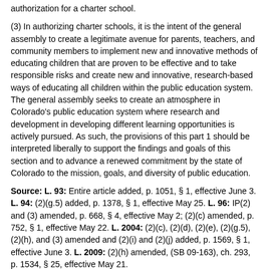authorization for a charter school.
(3) In authorizing charter schools, it is the intent of the general assembly to create a legitimate avenue for parents, teachers, and community members to implement new and innovative methods of educating children that are proven to be effective and to take responsible risks and create new and innovative, research-based ways of educating all children within the public education system. The general assembly seeks to create an atmosphere in Colorado's public education system where research and development in developing different learning opportunities is actively pursued. As such, the provisions of this part 1 should be interpreted liberally to support the findings and goals of this section and to advance a renewed commitment by the state of Colorado to the mission, goals, and diversity of public education.
Source: L. 93: Entire article added, p. 1051, § 1, effective June 3. L. 94: (2)(g.5) added, p. 1378, § 1, effective May 25. L. 96: IP(2) and (3) amended, p. 668, § 4, effective May 2; (2)(c) amended, p. 752, § 1, effective May 22. L. 2004: (2)(c), (2)(d), (2)(e), (2)(g.5), (2)(h), and (3) amended and (2)(i) and (2)(j) added, p. 1569, § 1, effective June 3. L. 2009: (2)(h) amended, (SB 09-163), ch. 293, p. 1534, § 25, effective May 21.
Cross references: For the "Education Accountability Act of 2009", see article 11 of this title.
ANNOTATION